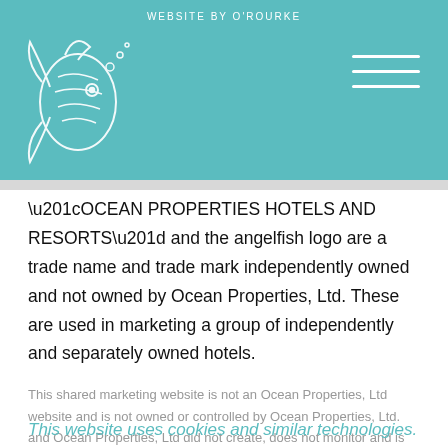WEBSITE BY O'ROURKE
[Figure (logo): Angelfish logo in white on teal background]
“OCEAN PROPERTIES HOTELS AND RESORTS” and the angelfish logo are a trade name and trade mark independently owned and not owned by Ocean Properties, Ltd. These are used in marketing a group of independently and separately owned hotels.
This shared marketing website is not an Ocean Properties, Ltd website and is not owned or controlled by Ocean Properties, Ltd. and Ocean Properties, Ltd did not create, does not monitor and is not responsible for the contents of this website.
This website uses cookies and similar technologies. By using this website, you are agreeing to our Privacy & Cookie Statement
Except as specifically designated, the hotels and properties presented in this website are not owned, operated or controlled by Ocean Properties, Ltd and